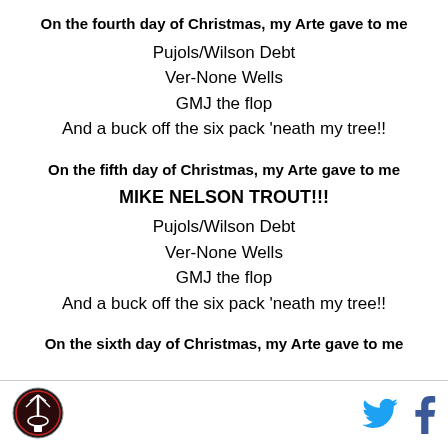On the fourth day of Christmas, my Arte gave to me
Pujols/Wilson Debt
Ver-None Wells
GMJ the flop
And a buck off the six pack 'neath my tree!!
On the fifth day of Christmas, my Arte gave to me
MIKE NELSON TROUT!!!
Pujols/Wilson Debt
Ver-None Wells
GMJ the flop
And a buck off the six pack 'neath my tree!!
On the sixth day of Christmas, my Arte gave to me
[Figure (logo): Halos Heaven podcast logo — circular dark badge with tower/antenna icon]
[Figure (illustration): Twitter bird icon in blue and Facebook 'f' icon in dark blue]